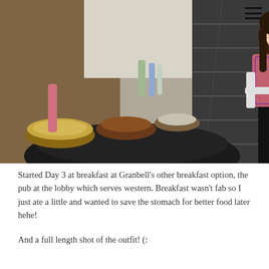[Figure (photo): A young woman with long dark hair smiling and standing next to a breakfast buffet table with bowls of food, inside what appears to be a hotel lobby or restaurant with stairs visible in the background.]
Started Day 3 at breakfast at Granbell's other breakfast option, the pub at the lobby which serves western. Breakfast wasn't fab so I just ate a little and wanted to save the stomach for better food later hehe!
And a full length shot of the outfit! (: